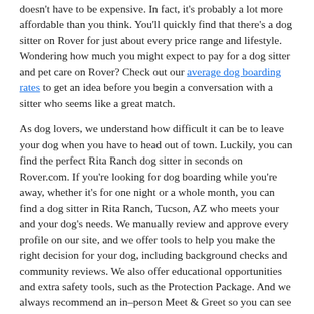doesn't have to be expensive. In fact, it's probably a lot more affordable than you think. You'll quickly find that there's a dog sitter on Rover for just about every price range and lifestyle. Wondering how much you might expect to pay for a dog sitter and pet care on Rover? Check out our average dog boarding rates to get an idea before you begin a conversation with a sitter who seems like a great match.
As dog lovers, we understand how difficult it can be to leave your dog when you have to head out of town. Luckily, you can find the perfect Rita Ranch dog sitter in seconds on Rover.com. If you're looking for dog boarding while you're away, whether it's for one night or a whole month, you can find a dog sitter in Rita Ranch, Tucson, AZ who meets your and your dog's needs. We manually review and approve every profile on our site, and we offer tools to help you make the right decision for your dog, including background checks and community reviews. We also offer educational opportunities and extra safety tools, such as the Protection Package. And we always recommend an in–person Meet & Greet so you can see that your sitter is the perfect fit for your dog. Rover is proud to be the nation's largest network of dog lovers for hire, and that includes offering pet boarding in Rita Ranch.
A Daily Treat: A Blog by Rover